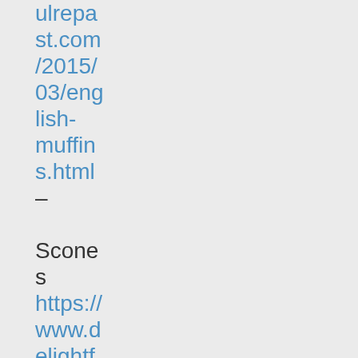ulrepast.com/2015/03/english-muffins.html – Scones https://www.delightfulrepast.com/2018/